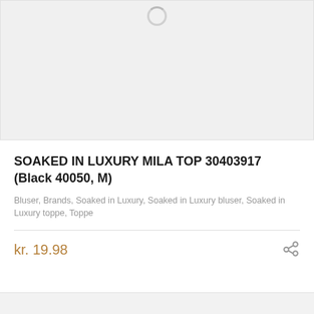[Figure (other): Product image placeholder with loading spinner on light gray background]
SOAKED IN LUXURY MILA TOP 30403917 (Black 40050, M)
Bluser, Brands, Soaked in Luxury, Soaked in Luxury bluser, Soaked in Luxury toppe, Toppe
kr. 19.98